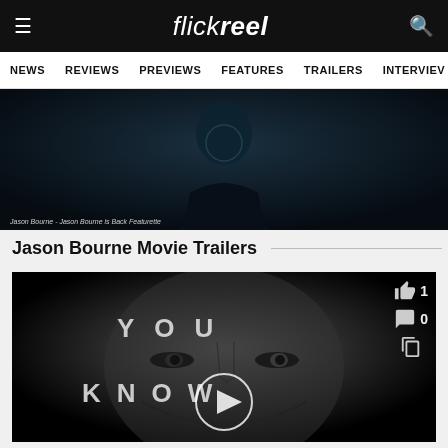flickreel — NEWS | REVIEWS | PREVIEWS | FEATURES | TRAILERS | INTERVIEWS
[Figure (screenshot): Dark scene screenshot from Jason Bourne featurette showing a silhouette figure against dark teal background]
Jason Bourne - Jason Bourne is Back Featurette
Jason Bourne Movie Trailers
[Figure (screenshot): Black and white close-up of Matt Damon's face as Jason Bourne with text overlaid reading YOU KNOW and a play button circle in center. Like count: 1, Comment count: 0]